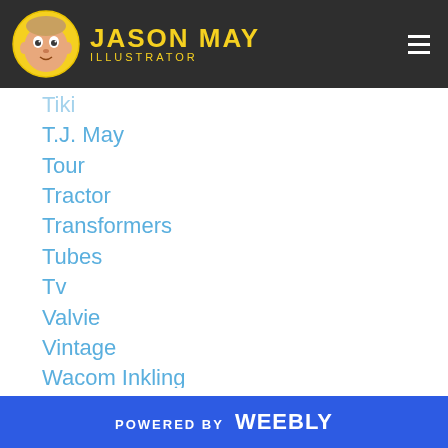Jason May Illustrator
Tiki
T.J. May
Tour
Tractor
Transformers
Tubes
Tv
Valvie
Vintage
Wacom Inkling
Wall Mural
Want List
Water Color
Wblq
Web Comic
POWERED BY weebly